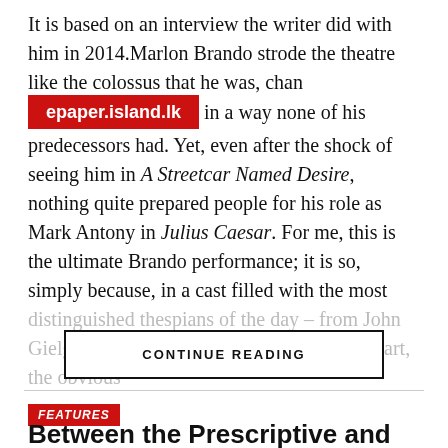It is based on an interview the writer did with him in 2014.Marlon Brando strode the theatre like the colossus that he was, changing [epaper.island.lk] in a way none of his predecessors had. Yet, even after the shock of seeing him in A Streetcar Named Desire, nothing quite prepared people for his role as Mark Antony in Julius Caesar. For me, this is the ultimate Brando performance; it is so, simply because, in a cast filled with the most distinguished thespians of the day – from John Gielgud to James Mason – Brando stands apart, the obvious
CONTINUE READING
FEATURES
Between the Prescriptive and Descriptive: The Challenge for